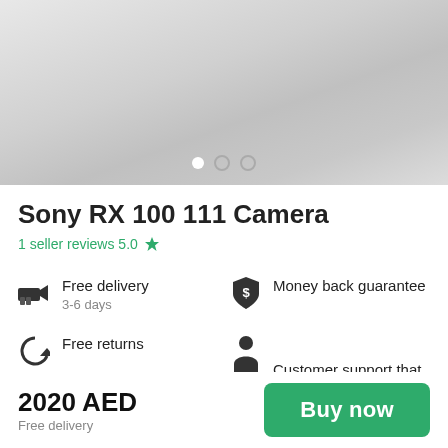[Figure (photo): Product image area with gradient silver/gray background and three carousel dots at bottom]
Sony RX 100 111 Camera
1 seller reviews 5.0 ★
Free delivery 3-6 days
Money back guarantee
Free returns
Customer support that cares
2020 AED
Free delivery
Buy now